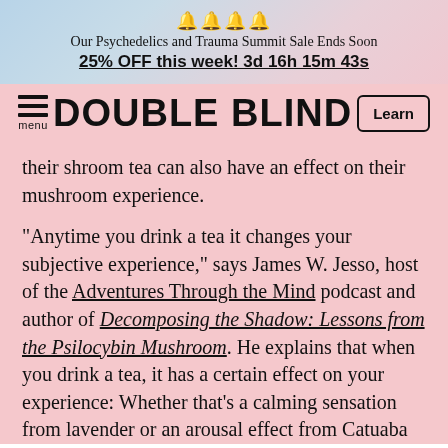🔔🔔🔔🔔
Our Psychedelics and Trauma Summit Sale Ends Soon
25% OFF this week! 3d 16h 15m 43s
DOUBLE BLIND
their shroom tea can also have an effect on their mushroom experience.
"Anytime you drink a tea it changes your subjective experience," says James W. Jesso, host of the Adventures Through the Mind podcast and author of Decomposing the Shadow: Lessons from the Psilocybin Mushroom. He explains that when you drink a tea, it has a certain effect on your experience: Whether that's a calming sensation from lavender or an arousal effect from Catuaba